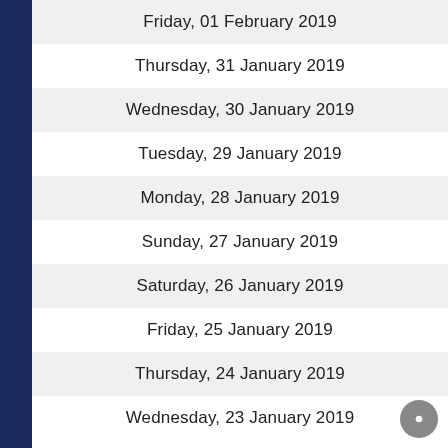Friday, 01 February 2019
Thursday, 31 January 2019
Wednesday, 30 January 2019
Tuesday, 29 January 2019
Monday, 28 January 2019
Sunday, 27 January 2019
Saturday, 26 January 2019
Friday, 25 January 2019
Thursday, 24 January 2019
Wednesday, 23 January 2019